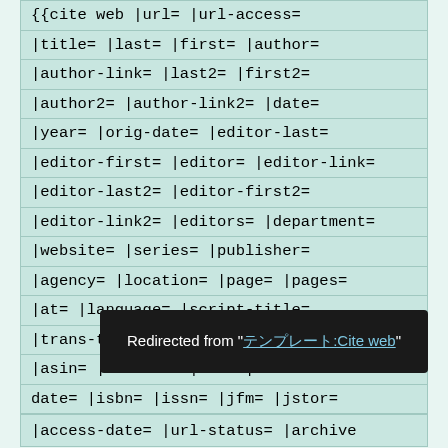{{cite web |url= |url-access= |title= |last= |first= |author= |author-link= |last2= |first2= |author2= |author-link2= |date= |year= |orig-date= |editor-last= |editor-first= |editor= |editor-link= |editor-last2= |editor-first2= |editor-link2= |editors= |department= |website= |series= |publisher= |agency= |location= |page= |pages= |at= |language= |script-title= |trans-title= |type= |format= |arxiv= |asin= |bibcode= |doi= |doi-broken-date= |isbn= |issn= |jfm= |jstor=
Redirected from "テンプレート:Cite web"
|access-date= |url-status= |archive